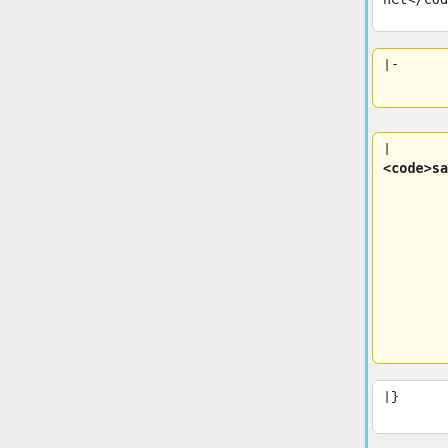net</code>
|-
|
<code>sarin.codfw.wmnet</code>
|}
|}
The default Cumin backend is configured to be PuppetDB and the default transport ClusterShell (SSH). The capability
The default Cumin backend is configured to be PuppetDB and the default transport ClusterShell (SSH). The capability